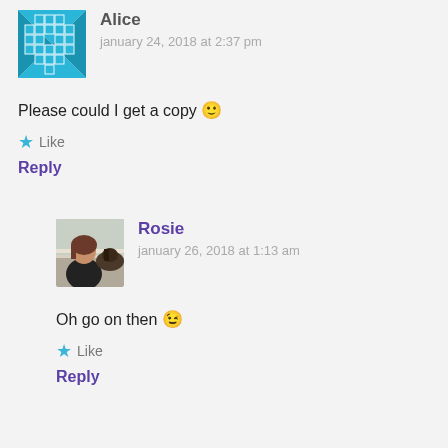[Figure (illustration): Blue tiled/quilt pattern avatar icon for user Alice]
Alice
january 24, 2018 at 2:37 pm
Please could I get a copy 🙂
★ Like
Reply
[Figure (photo): Photo of Rosie, a woman with red/brown hair, leaning on a fence with a horse or donkey]
Rosie
january 26, 2018 at 1:13 am
Oh go on then 😉
★ Like
Reply